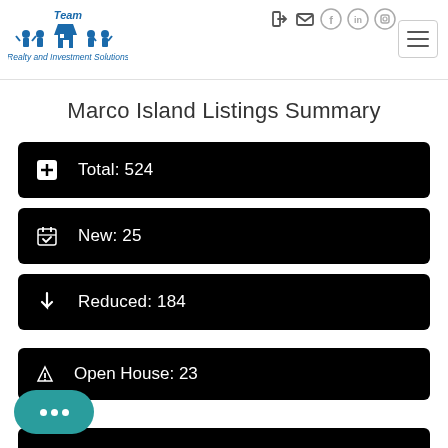[Figure (logo): Team Realty and Investment Solutions logo with blue house icons and people figures]
Marco Island Listings Summary
Total: 524
New: 25
Reduced: 184
Open House: 23